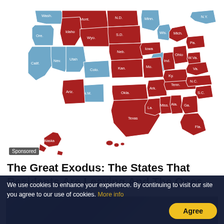[Figure (map): US choropleth map showing states colored red (residents leaving) or blue (residents moving to). Red states include Texas, Florida, Oklahoma, Arkansas, Tennessee, Mississippi, Alabama, Georgia, South Carolina, North Carolina, Virginia, West Virginia, Ohio, Indiana, Kansas, Nebraska, South Dakota, North Dakota, Montana, Wyoming, Idaho, Nevada, Arizona, Louisiana, Missouri, Kentucky, Iowa, Michigan, Pennsylvania. Blue states include Washington, Oregon, California, Colorado, New Mexico, Utah, Minnesota, Wisconsin, Illinois, New York, and others. Alaska shown in lower left in red. Hawaii shown in lower center in red.]
Sponsored
The Great Exodus: The States That Residents Are Leaving And The Ones They Are…
Forbes
[Figure (photo): Partial preview image of next article, dark/blurry photo]
We use cookies to enhance your experience. By continuing to visit our site you agree to our use of cookies. More info